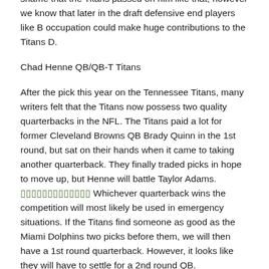instead of being a mediocre 'defensive' end. It's a shame that the Titans passed on him like that, however we know that later in the draft defensive end players like B occupation could make huge contributions to the Titans D.
Chad Henne QB/QB-T Titans
After the pick this year on the Tennessee Titans, many writers felt that the Titans now possess two quality quarterbacks in the NFL. The Titans paid a lot for former Cleveland Browns QB Brady Quinn in the 1st round, but sat on their hands when it came to taking another quarterback. They finally traded picks in hope to move up, but Henne will battle Taylor Adams. [link] Whichever quarterback wins the competition will most likely be used in emergency situations. If the Titans find someone as good as the Miami Dolphins two picks before them, we will then have a 1st round quarterback. However, it looks like they will have to settle for a 2nd round QB.
The Tennessee Titans could draft Edgerrin James the first round, or if the Titans deem it a franchise quarterback choice,